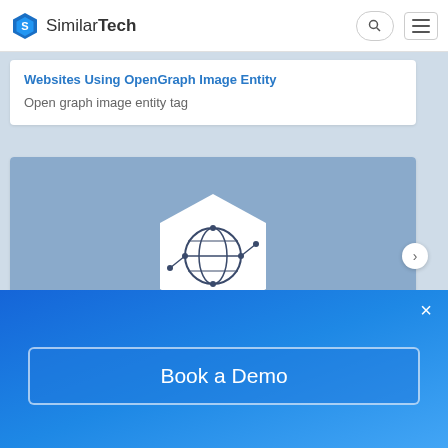SimilarTech
Websites Using OpenGraph Image Entity
Open graph image entity tag
[Figure (logo): OpenGraph Type Entity hexagonal logo with globe/network icon on blue-grey banner background]
OpenGraph Type Entity
Websites Using OpenGraph Type Entity
Open graph type entity tag
Book a Demo